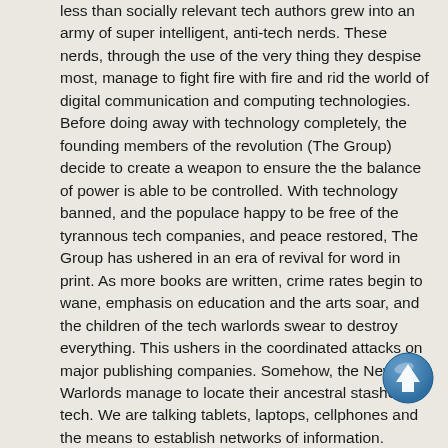less than socially relevant tech authors grew into an army of super intelligent, anti-tech nerds. These nerds, through the use of the very thing they despise most, manage to fight fire with fire and rid the world of digital communication and computing technologies. Before doing away with technology completely, the founding members of the revolution (The Group) decide to create a weapon to ensure the the balance of power is able to be controlled. With technology banned, and the populace happy to be free of the tyrannous tech companies, and peace restored, The Group has ushered in an era of revival for word in print. As more books are written, crime rates begin to wane, emphasis on education and the arts soar, and the children of the tech warlords swear to destroy everything. This ushers in the coordinated attacks on major publishing companies. Somehow, the New Warlords manage to locate their ancestral stashes of tech. We are talking tablets, laptops, cellphones and the means to establish networks of information. Because of this influx in technology, the warlords are able to coordinate their attacks deviously against “the group.” Little do the warlords know, through the use of nano technology and before the rise of The Revival, The Group was able to create special ink cartridges for their typewriters, NanoInk, that allows the author to assume the po of whatever character they are writing at the time does The Group know, there is a traitor among the ranks. The Group must suit up with their NanoInk and